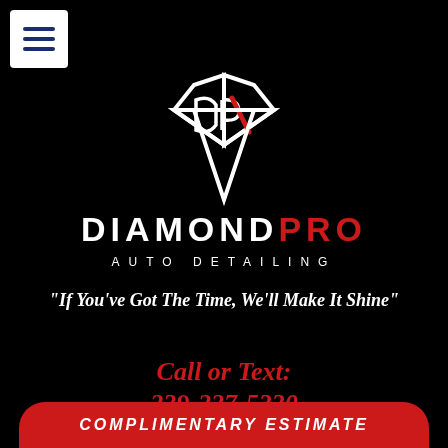[Figure (logo): Diamond Pro Auto Detailing logo: white diamond/DP monogram shape with a red diagonal slash, on black background]
DIAMOND PRO AUTO DETAILING
"If You've Got The Time, We'll Make It Shine"
Call or Text: 239-227-5330
COMPLIMENTARY ESTIMATE